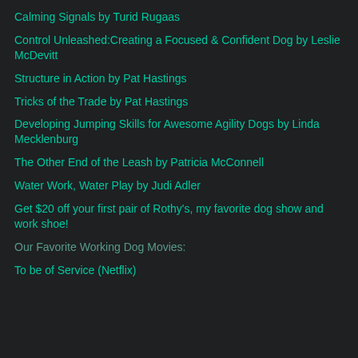Calming Signals by Turid Rugaas
Control Unleashed:Creating a Focused & Confident Dog by Leslie McDevitt
Structure in Action by Pat Hastings
Tricks of the Trade by Pat Hastings
Developing Jumping Skills for Awesome Agility Dogs by Linda Mecklenburg
The Other End of the Leash by Patricia McConnell
Water Work, Water Play by Judi Adler
Get $20 off your first pair of Rothy's, my favorite dog show and work shoe!
Our Favorite Working Dog Movies:
To be of Service (Netflix)